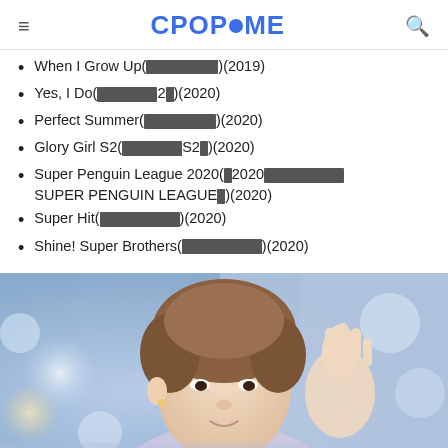CPOPHOME
When I Grow Up(长大后)(2019)
Yes, I Do(我的世界2号)(2020)
Perfect Summer(完美的夏天)(2020)
Glory Girl S2(荣耀女孩S2季)(2020)
Super Penguin League 2020(超2020企鹅联萌 SUPER PENGUIN LEAGUE季)(2020)
Super Hit(超级精选集)(2020)
Shine! Super Brothers(闪耀吧超级哥哥)(2020)
[Figure (photo): Close-up photo of a young Asian male performer with brown hair, hand raised, appearing to be on stage with colorful bokeh lights in the background]